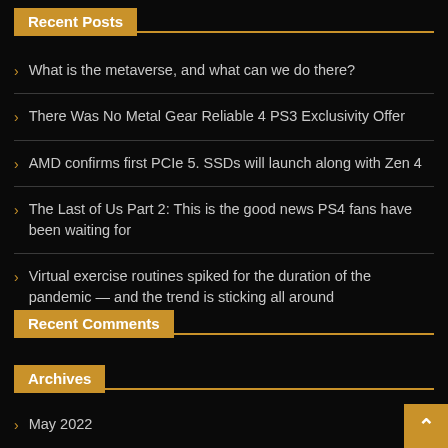Recent Posts
What is the metaverse, and what can we do there?
There Was No Metal Gear Reliable 4 PS3 Exclusivity Offer
AMD confirms first PCIe 5. SSDs will launch along with Zen 4
The Last of Us Part 2: This is the good news PS4 fans have been waiting for
Virtual exercise routines spiked for the duration of the pandemic — and the trend is sticking all around
Recent Comments
Archives
May 2022